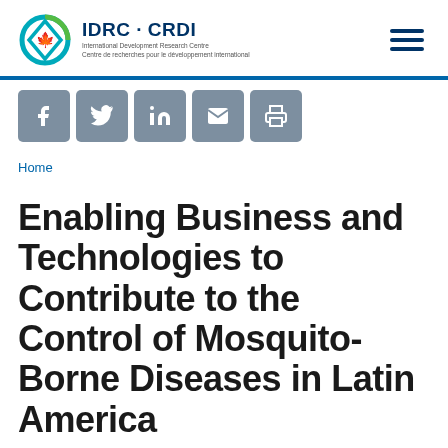IDRC · CRDI — International Development Research Centre / Centre de recherches pour le développement international
[Figure (logo): IDRC CRDI logo with maple leaf icon and teal/green circular graphic]
[Figure (infographic): Social sharing icons: Facebook, Twitter, LinkedIn, Email, Print]
Home
Enabling Business and Technologies to Contribute to the Control of Mosquito-Borne Diseases in Latin America